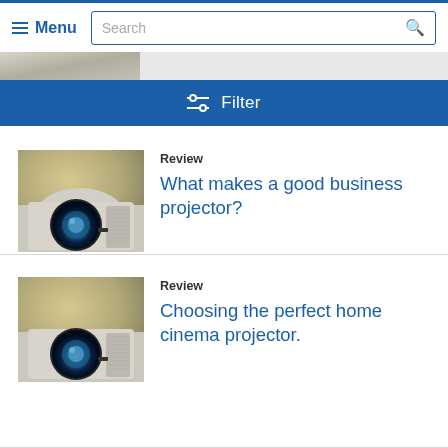Menu  Search
[Figure (screenshot): Partial top image strip showing blurred background]
Filter
[Figure (photo): Close-up of a business projector lens]
Review
What makes a good business projector?
[Figure (photo): Close-up of a home cinema projector lens]
Review
Choosing the perfect home cinema projector.